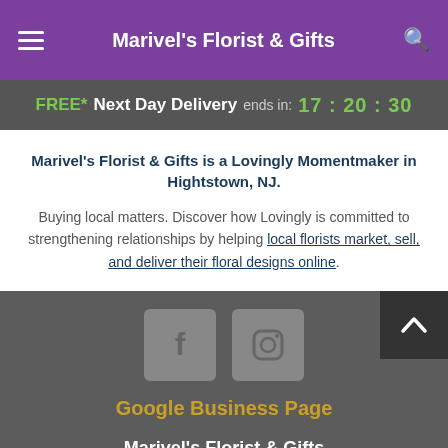Marivel's Florist & Gifts
FREE* Next Day Delivery ends in: 17:20:30
Marivel's Florist & Gifts is a Lovingly Momentmaker in Hightstown, NJ.
Buying local matters. Discover how Lovingly is committed to strengthening relationships by helping local florists market, sell, and deliver their floral designs online.
[Figure (other): Social media icons: Facebook and Instagram]
Google Business Page
Marivel's Florist & Gifts
409 Mercer St Hightstown NJ 08520
+1 (609) 448-3636